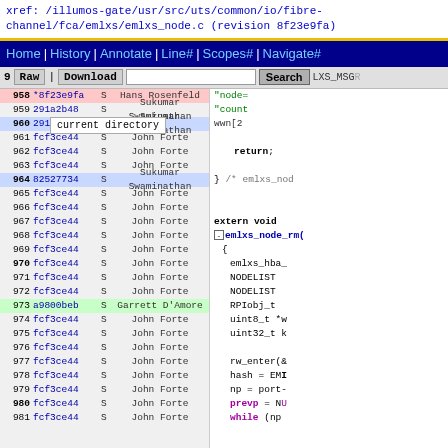xref: /illumos-gate/usr/src/uts/common/io/fibre-channel/fca/emlxs/emlxs_node.c (revision 8f23e9fa)
Home | History | Annotate | Line# | Scopes# | Navigate#
Raw | Download | [Search] LXS_MSG...
958 *8f23e9fa S Hans Rosenfeld | "node=...
current directory | "count...
Code lines 959-981 with blame annotations and authors
[Figure (screenshot): Source code viewer showing blame annotations for emlxs_node.c lines 958-981 with revision hashes, authors (John Forte, Sukumar Swaminathan, Garrett D'Amore, Hans Rosenfeld), and code panel showing C code including return statement, emlxs_node_rm function definition, and variable declarations.]